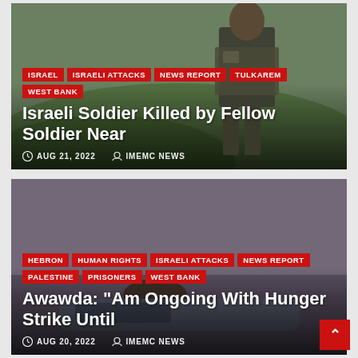[Figure (photo): News article card with photo of an Israeli soldier in military gear standing outdoors on a green hillside. Tags: ISRAEL, ISRAELI ATTACKS, NEWS REPORT, TULKAREM, WEST BANK]
Israeli Soldier Killed by Fellow Soldier Near
AUG 21, 2022   IMEMC NEWS
[Figure (photo): News article card with photo of a person lying in a hospital or detention setting. Tags: HEBRON, HUMAN RIGHTS, ISRAELI ATTACKS, NEWS REPORT, PALESTINE, PRISONERS, WEST BANK]
Awawda: “Am Ongoing With Hunger Strike Until
AUG 20, 2022   IMEMC NEWS